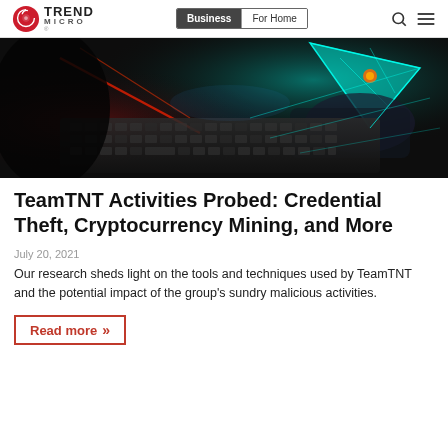Trend Micro | Business | For Home
[Figure (photo): Dark image of hands over a laptop keyboard with glowing cyan/teal holographic digital elements and red light streaks in the background]
TeamTNT Activities Probed: Credential Theft, Cryptocurrency Mining, and More
July 20, 2021
Our research sheds light on the tools and techniques used by TeamTNT and the potential impact of the group's sundry malicious activities.
Read more »